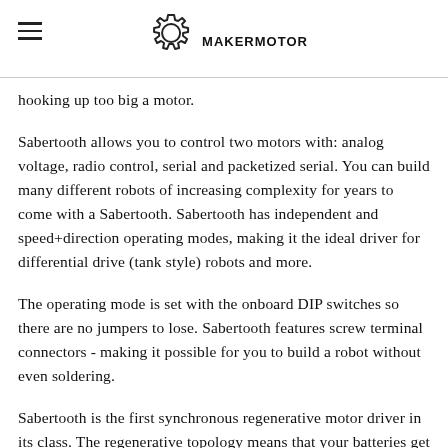MAKERMOTOR
hooking up too big a motor.
Sabertooth allows you to control two motors with: analog voltage, radio control, serial and packetized serial. You can build many different robots of increasing complexity for years to come with a Sabertooth. Sabertooth has independent and speed+direction operating modes, making it the ideal driver for differential drive (tank style) robots and more.
The operating mode is set with the onboard DIP switches so there are no jumpers to lose. Sabertooth features screw terminal connectors - making it possible for you to build a robot without even soldering.
Sabertooth is the first synchronous regenerative motor driver in its class. The regenerative topology means that your batteries get recharged whenever you command your robot to slow down or reverse. Sabertooth also allows you to make very fast stops and reverses - giving your robot a quick and nimble